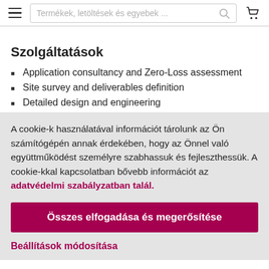Termékek, letöltések és egyebek ...
Szolgáltatások
Application consultancy and Zero-Loss assessment
Site survey and deliverables definition
Detailed design and engineering
A cookie-k használatával információt tárolunk az Ön számítógépén annak érdekében, hogy az Önnel való együttműködést személyre szabhassuk és fejleszthessük. A cookie-kkal kapcsolatban bővebb információt az adatvédelmi szabályzatban talál.
Összes elfogadása és megerősítése
Beállítások módosítása